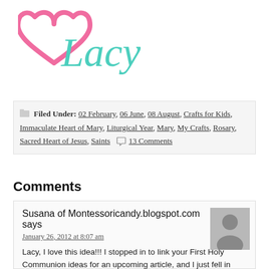[Figure (logo): Lacy blog logo with a pink heart outline and teal cursive 'Lacy' text]
Filed Under: 02 February, 06 June, 08 August, Crafts for Kids, Immaculate Heart of Mary, Liturgical Year, Mary, My Crafts, Rosary, Sacred Heart of Jesus, Saints  13 Comments
Comments
Susana of Montessoricandy.blogspot.com says
January 26, 2012 at 8:07 am
Lacy, I love this idea!!! I stopped in to link your First Holy Communion ideas for an upcoming article, and I just fell in love with these heart rosaries! Thank you so much for doing such a great job at sharing all of these wonderful and inspiring crafts with